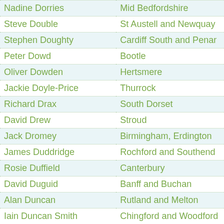| Name | Constituency |
| --- | --- |
| Nadine Dorries | Mid Bedfordshire |
| Steve Double | St Austell and Newquay |
| Stephen Doughty | Cardiff South and Penarth |
| Peter Dowd | Bootle |
| Oliver Dowden | Hertsmere |
| Jackie Doyle-Price | Thurrock |
| Richard Drax | South Dorset |
| David Drew | Stroud |
| Jack Dromey | Birmingham, Erdington |
| James Duddridge | Rochford and Southend East |
| Rosie Duffield | Canterbury |
| David Duguid | Banff and Buchan |
| Alan Duncan | Rutland and Melton |
| Iain Duncan Smith | Chingford and Woodford Green |
| Philip Dunne | Ludlow |
| Angela Eagle | Wallasey |
| Maria Eagle | Garston and Halewood |
| Jonathan Edwards | Carmarthen East and Dinefwr |